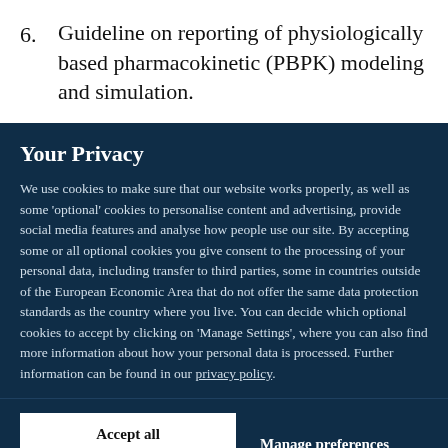6. Guideline on reporting of physiologically based pharmacokinetic (PBPK) modeling and simulation.
Your Privacy
We use cookies to make sure that our website works properly, as well as some 'optional' cookies to personalise content and advertising, provide social media features and analyse how people use our site. By accepting some or all optional cookies you give consent to the processing of your personal data, including transfer to third parties, some in countries outside of the European Economic Area that do not offer the same data protection standards as the country where you live. You can decide which optional cookies to accept by clicking on 'Manage Settings', where you can also find more information about how your personal data is processed. Further information can be found in our privacy policy.
Accept all cookies
Manage preferences